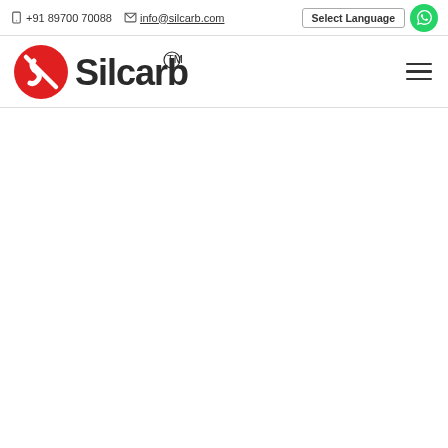+91 89700 70088  info@silcarb.com  Select Language
[Figure (logo): Silcarb logo with red circular icon and 'Silcarb' text in dark gray with TM mark]
[Figure (other): Hamburger menu icon (three horizontal lines)]